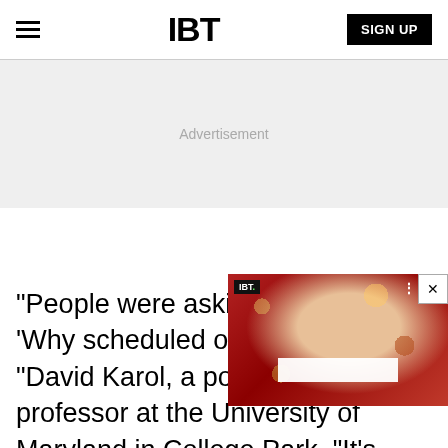IBT
Advertisement
"People were asking, 'Why scheduled on a weekend?' David Karol, a political science professor at the University of Maryland in College Park. "It's